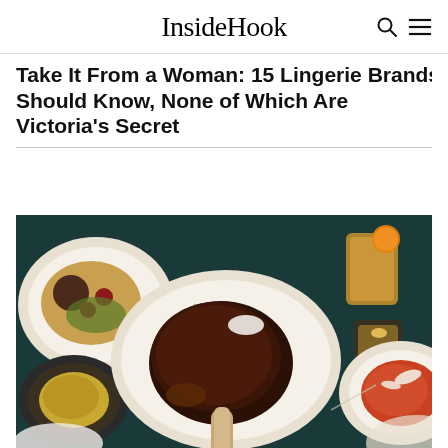InsideHook
Take It From a Woman: 15 Lingerie Brands Men Should Know, None of Which Are Victoria's Secret
[Figure (photo): Overhead flat-lay photograph of restaurant table with multiple dishes including a large tomahawk steak on a white oval plate, pasta dishes, roasted vegetables, cocktail glasses with garnishes and a candle, on a dark teal tablecloth.]